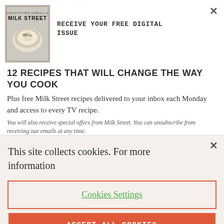[Figure (screenshot): Milk Street website screenshot showing a newsletter signup modal overlay on top of a recipe page, with a cookie consent banner at the bottom.]
RECEIVE YOUR FREE DIGITAL ISSUE
12 RECIPES THAT WILL CHANGE THE WAY YOU COOK
Plus free Milk Street recipes delivered to your inbox each Monday and access to every TV recipe.
You will also receive special offers from Milk Street. You can unsubscribe from receiving our emails at any time.
This site collects cookies. For more information
Cookies Settings
ACCEPT ALL COOKIES